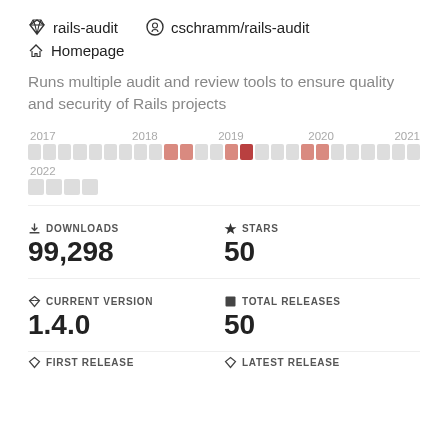rails-audit   cschramm/rails-audit
Homepage
Runs multiple audit and review tools to ensure quality and security of Rails projects
[Figure (other): Activity timeline showing download/release activity blocks from 2017 to 2022, with colored blocks indicating activity levels (light gray for low, pink/red for higher activity).]
DOWNLOADS
99,298
STARS
50
CURRENT VERSION
1.4.0
TOTAL RELEASES
50
FIRST RELEASE   LATEST RELEASE